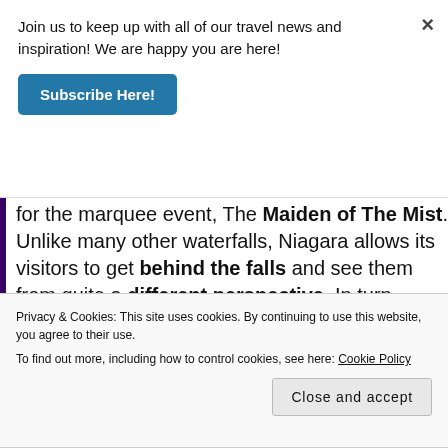for the marquee event, The Maiden of The Mist. Unlike many other waterfalls, Niagara allows its visitors to get behind the falls and see them from quite a different perspective. In turn, making it quite the draw. But, wait! Terri told me that you don't want to
Join us to keep up with all of our travel news and inspiration! We are happy you are here!
Subscribe Here!
Privacy & Cookies: This site uses cookies. By continuing to use this website, you agree to their use.
To find out more, including how to control cookies, see here: Cookie Policy
Close and accept